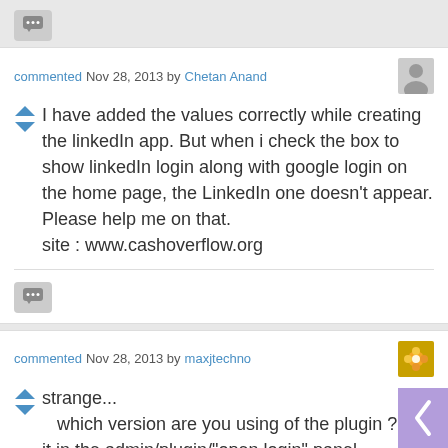[Figure (other): Speech bubble / comment icon button in grey rounded rectangle]
commented Nov 28, 2013 by Chetan Anand
I have added the values correctly while creating the linkedIn app. But when i check the box to show linkedIn login along with google login on the home page, the LinkedIn one doesn't appear. Please help me on that. site : www.cashoverflow.org
[Figure (other): Speech bubble / comment icon button in grey rounded rectangle]
commented Nov 28, 2013 by maxjtechno
strange...
which version are you using of the plugin ? see it in the admin/plugin/"open login" panel.
I have the 2.0.3 installed, a dev version, I think you have the 2.0.2.
But I do not think this is the problem.
I do not either see the code of the button appear in your